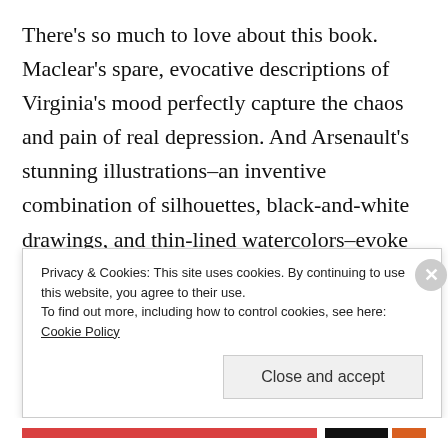There's so much to love about this book. Maclear's spare, evocative descriptions of Virginia's mood perfectly capture the chaos and pain of real depression. And Arsenault's stunning illustrations–an inventive combination of silhouettes, black-and-white drawings, and thin-lined watercolors–evoke the mental and creative gymnastics both sisters execute over the course of the story.
Privacy & Cookies: This site uses cookies. By continuing to use this website, you agree to their use.
To find out more, including how to control cookies, see here: Cookie Policy
Close and accept